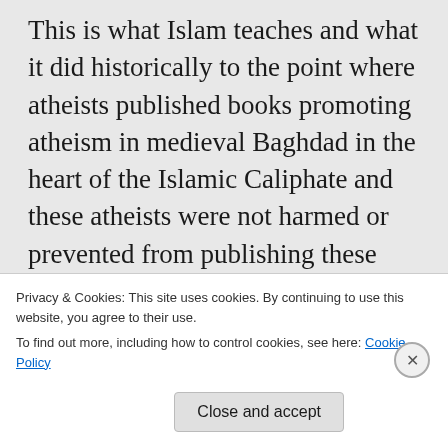This is what Islam teaches and what it did historically to the point where atheists published books promoting atheism in medieval Baghdad in the heart of the Islamic Caliphate and these atheists were not harmed or prevented from publishing these books. Jews flourished in Spain and Turkey and many Christians in Egypt became prosperous to the point that many Muslims became
Privacy & Cookies: This site uses cookies. By continuing to use this website, you agree to their use.
To find out more, including how to control cookies, see here: Cookie Policy